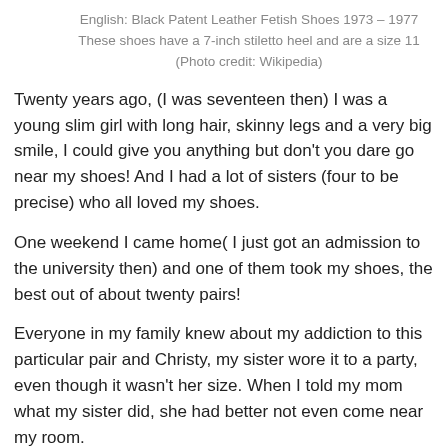English: Black Patent Leather Fetish Shoes 1973 – 1977 These shoes have a 7-inch stiletto heel and are a size 11 (Photo credit: Wikipedia)
Twenty years ago, (I was seventeen then) I was a young slim girl with long hair, skinny legs and a very big smile, I could give you anything but don't you dare go near my shoes! And I had a lot of sisters (four to be precise) who all loved my shoes.
One weekend I came home( I just got an admission to the university then) and one of them took my shoes, the best out of about twenty pairs!
Everyone in my family knew about my addiction to this particular pair and Christy, my sister wore it to a party, even though it wasn't her size. When I told my mom what my sister did, she had better not even come near my room.